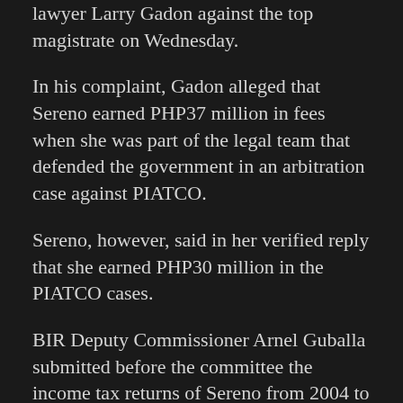lawyer Larry Gadon against the top magistrate on Wednesday.
In his complaint, Gadon alleged that Sereno earned PHP37 million in fees when she was part of the legal team that defended the government in an arbitration case against PIATCO.
Sereno, however, said in her verified reply that she earned PHP30 million in the PIATCO cases.
BIR Deputy Commissioner Arnel Guballa submitted before the committee the income tax returns of Sereno from 2004 to 2010, covering the period when she worked on the case involving PIATCO.
“There was no formal investigation yet regarding the income tax returns of the chief justice. So, as I peruse all the records of the tax returns of the chief justice, we can do the formal investigation so we can assess whether or not there was under-